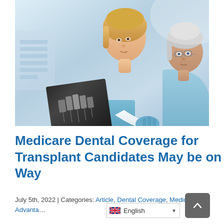[Figure (photo): A female dentist or doctor in a white coat and blue gloves showing a dental X-ray to an elderly patient with grey hair seated in a dental chair. Clinical setting with medical equipment visible in the background.]
Medicare Dental Coverage for Transplant Candidates May be on the Way
July 5th, 2022 | Categories: Article, Dental Coverage, Medicare Advanta…